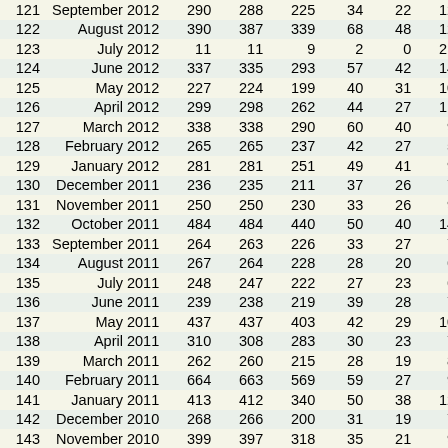| # | Month | Col3 | Col4 | Col5 | Col6 | Col7 | Col8 |
| --- | --- | --- | --- | --- | --- | --- | --- |
| 121 | September 2012 | 290 | 288 | 225 | 34 | 22 | 126 |
| 122 | August 2012 | 390 | 387 | 339 | 68 | 48 | 122 |
| 123 | July 2012 | 11 | 11 | 9 | 2 | 0 | 212 |
| 124 | June 2012 | 337 | 335 | 293 | 57 | 42 | 147 |
| 125 | May 2012 | 227 | 224 | 199 | 40 | 31 | 102 |
| 126 | April 2012 | 299 | 298 | 262 | 44 | 27 | 111 |
| 127 | March 2012 | 338 | 338 | 290 | 60 | 40 | 97 |
| 128 | February 2012 | 265 | 265 | 237 | 42 | 27 | 55 |
| 129 | January 2012 | 281 | 281 | 251 | 49 | 41 | 98 |
| 130 | December 2011 | 236 | 235 | 211 | 37 | 26 | 79 |
| 131 | November 2011 | 250 | 250 | 230 | 33 | 26 | 91 |
| 132 | October 2011 | 484 | 484 | 440 | 50 | 40 | 141 |
| 133 | September 2011 | 264 | 263 | 226 | 33 | 27 | 78 |
| 134 | August 2011 | 267 | 264 | 228 | 28 | 20 | 68 |
| 135 | July 2011 | 248 | 247 | 222 | 27 | 23 | 64 |
| 136 | June 2011 | 239 | 238 | 219 | 39 | 28 | 70 |
| 137 | May 2011 | 437 | 437 | 403 | 42 | 29 | 104 |
| 138 | April 2011 | 310 | 308 | 283 | 30 | 23 | 75 |
| 139 | March 2011 | 262 | 260 | 215 | 28 | 19 | 84 |
| 140 | February 2011 | 664 | 663 | 569 | 59 | 27 | 93 |
| 141 | January 2011 | 413 | 412 | 340 | 50 | 38 | 124 |
| 142 | December 2010 | 268 | 266 | 200 | 31 | 19 | 78 |
| 143 | November 2010 | 399 | 397 | 318 | 35 | 21 | 97 |